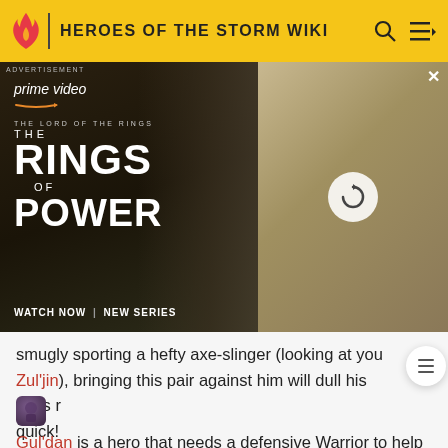HEROES OF THE STORM WIKI
[Figure (screenshot): Amazon Prime Video advertisement for The Lord of the Rings: The Rings of Power. Left side shows fantasy character with hood and staff against dark background with title text. Right side shows a lighter panel with a refresh/reload icon overlay on a scene with blonde woman. 'WATCH NOW | NEW SERIES' at bottom. Close X button top right.]
smugly sporting a hefty axe-slinger (looking at you Zul'jin), bringing this pair against him will dull his axes real quick!
[Figure (illustration): Small dark fantasy hero icon for Gul'dan character]
Gul'dan is a hero that needs a defensive Warrior to help peel for him and keep him safe. Johanna fits the bill with slows, blinds, and enemy displacement.